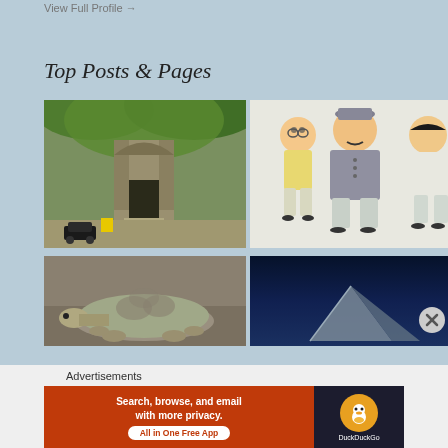View Full Profile →
Top Posts & Pages
[Figure (photo): Forest scene with ancient ruins arch and a black SUV on a dirt road]
[Figure (photo): Cartoon illustration of three Indian characters in traditional attire]
[Figure (photo): Close-up photograph of a tortoise or large turtle]
[Figure (photo): Dark blue sky with a triangular geometric shape or pyramid]
[Figure (other): Close button (X circle) on right side]
Advertisements
[Figure (other): DuckDuckGo advertisement banner: Search, browse, and email with more privacy. All in One Free App]
Search, browse, and email with more privacy. All in One Free App
DuckDuckGo